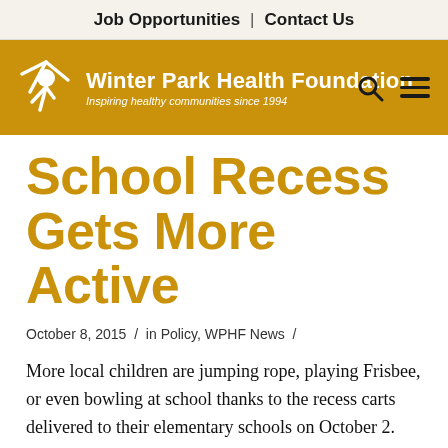Job Opportunities  |  Contact Us
[Figure (logo): Winter Park Health Foundation logo with figure icon on gold/amber banner, tagline: Inspiring healthy communities since 1994]
School Recess Gets More Active
October 8, 2015  /  in Policy, WPHF News  /
More local children are jumping rope, playing Frisbee, or even bowling at school thanks to the recess carts delivered to their elementary schools on October 2.  The recess carts were provided to eight Winter Park,